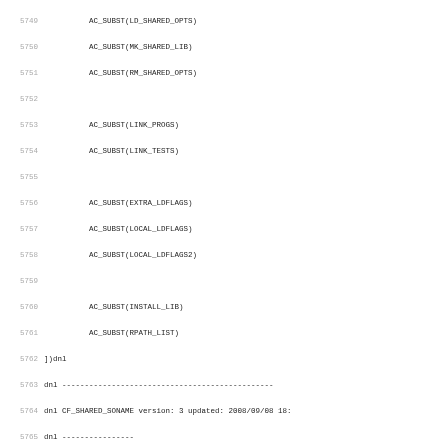Source code listing lines 5749-5781, showing autoconf macro definitions including AC_SUBST calls and CF_SHARED_SONAME definition with shell script logic.